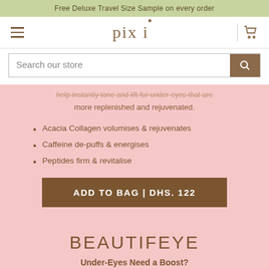Free Deluxe Travel Size Sample on every order
[Figure (logo): Pixi brand logo with hamburger menu and cart icon navigation bar]
Search our store
help instantly tone and lift for under-eyes that are more replenished and rejuvenated.
Acacia Collagen volumises & rejuvenates
Caffeine de-puffs & energises
Peptides firm & revitalise
ADD TO BAG | DHS. 122
BEAUTIFEYE
Under-Eyes Need a Boost?